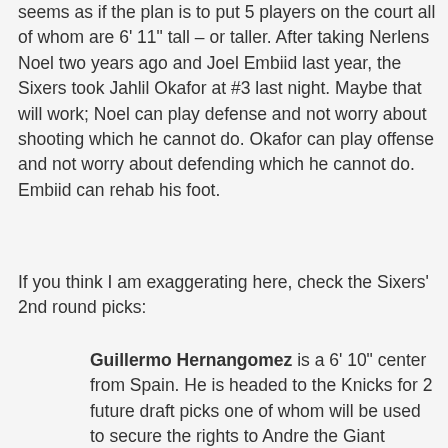seems as if the plan is to put 5 players on the court all of whom are 6' 11" tall – or taller. After taking Nerlens Noel two years ago and Joel Embiid last year, the Sixers took Jahlil Okafor at #3 last night. Maybe that will work; Noel can play defense and not worry about shooting which he cannot do. Okafor can play offense and not worry about defending which he cannot do. Embiid can rehab his foot.
If you think I am exaggerating here, check the Sixers' 2nd round picks:
Guillermo Hernangomez is a 6' 10" center from Spain. He is headed to the Knicks for 2 future draft picks one of whom will be used to secure the rights to Andre the Giant should he return from the grave.